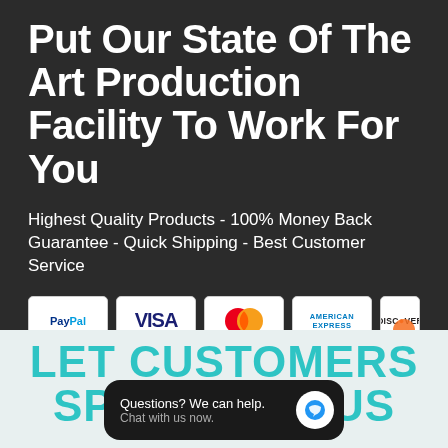Put Our State Of The Art Production Facility To Work For You
Highest Quality Products - 100% Money Back Guarantee - Quick Shipping - Best Customer Service
[Figure (other): Payment icons: PayPal, Visa, Mastercard, American Express, Discover]
LET CUSTOMERS SPEAK FOR US
[Figure (other): Chat overlay widget: Questions? We can help. Chat with us now.]